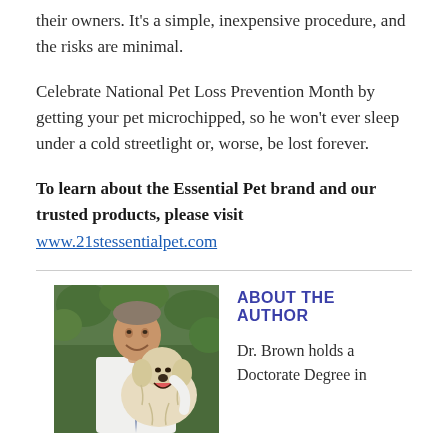their owners. It's a simple, inexpensive procedure, and the risks are minimal.
Celebrate National Pet Loss Prevention Month by getting your pet microchipped, so he won't ever sleep under a cold streetlight or, worse, be lost forever.
To learn about the Essential Pet brand and our trusted products, please visit www.21stessentialpet.com
[Figure (photo): Photo of Dr. Brown, a man in a white shirt and tie, smiling and posing with a fluffy light-colored dog outdoors with greenery in the background.]
ABOUT THE AUTHOR
Dr. Brown holds a Doctorate Degree in